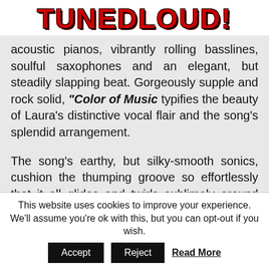TUNEDLOUD!
acoustic pianos, vibrantly rolling basslines, soulful saxophones and an elegant, but steadily slapping beat. Gorgeously supple and rock solid, “Color of Music typifies the beauty of Laura’s distinctive vocal flair and the song’s splendid arrangement.
The song’s earthy, but silky-smooth sonics, cushion the thumping groove so effortlessly that it all glides and twirls sublimely around Laura Vida’s graceful croons, without overpowering them. In fact, the entire construction, from the effervescent rhythmic turns to its breakdown bridge, morphs into an explosive listen,
This website uses cookies to improve your experience. We’ll assume you’re ok with this, but you can opt-out if you wish. Accept Reject Read More